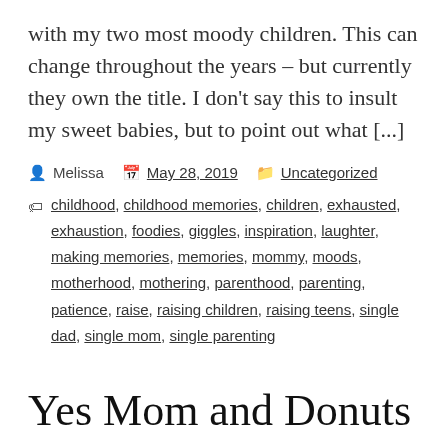with my two most moody children. This can change throughout the years – but currently they own the title. I don't say this to insult my sweet babies, but to point out what [...]
Melissa   May 28, 2019   Uncategorized
childhood, childhood memories, children, exhausted, exhaustion, foodies, giggles, inspiration, laughter, making memories, memories, mommy, moods, motherhood, mothering, parenthood, parenting, patience, raise, raising children, raising teens, single dad, single mom, single parenting
Yes Mom and Donuts